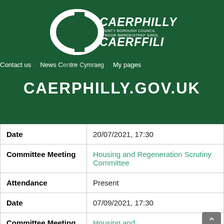[Figure (logo): Caerphilly County Borough Council / Cyngor Bwrdeistref Sirol Caerffili white logo on dark green background]
Contact us   News Centre   Cymraeg   My pages
CAERPHILLY.GOV.UK
| Date | 20/07/2021, 17:30 |
| Committee Meeting | Housing and Regeneration Scrutiny Committee |
| Attendance | Present |
| Date | 07/09/2021, 17:30 |
| Committee Meeting | Housing and |